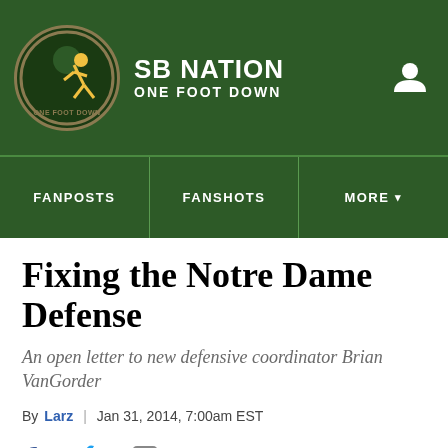SBNATION ONE FOOT DOWN
FANPOSTS | FANSHOTS | MORE
Fixing the Notre Dame Defense
An open letter to new defensive coordinator Brian VanGorder
By Larz | Jan 31, 2014, 7:00am EST
SHARE